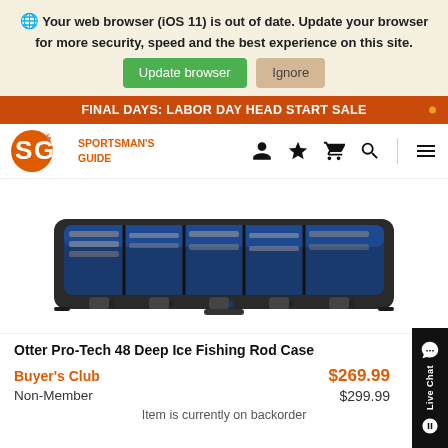Your web browser (iOS 11) is out of date. Update your browser for more security, speed and the best experience on this site.
Update browser   Ignore
FINAL DAYS: LABOR DAY HEAD START SALE
[Figure (logo): Sportsman's Guide logo with SG letters in orange circle and text 'SPORTSMAN'S GUIDE']
[Figure (photo): Otter Pro-Tech 48 Deep Ice Fishing Rod Case - a long black rectangular case with blue interior visible from top, showing fishing rods stored inside]
Otter Pro-Tech 48 Deep Ice Fishing Rod Case
Buyer's Club   $269.99
Non-Member   $299.99
Item is currently on backorder